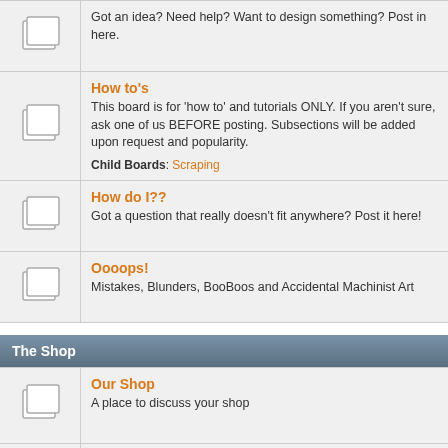Got an idea? Need help? Want to design something? Post in here.
How to's - This board is for 'how to' and tutorials ONLY. If you aren't sure, ask one of us BEFORE posting. Subsections will be added upon request and popularity. Child Boards: Scraping
How do I?? - Got a question that really doesn't fit anywhere? Post it here!
Oooops! - Mistakes, Blunders, BooBoos and Accidental Machinist Art
The Shop
Our Shop - A place to discuss your shop
CNC - Mills, Lathes, 3D printers... Anything not manually controlled!
Tools - Tools of the trade. Discuss tools, machines, etc here. Got a